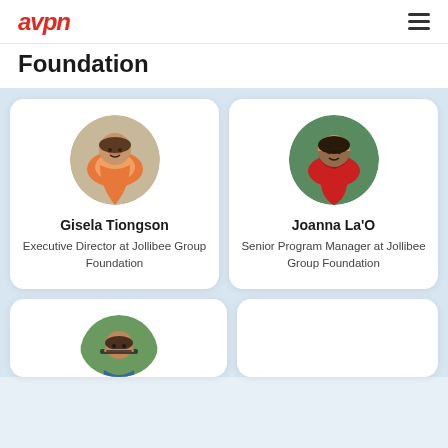avpn
Foundation
[Figure (photo): Circular portrait photo of Gisela Tiongson, a woman smiling, wearing an orange patterned top]
Gisela Tiongson
Executive Director at Jollibee Group Foundation
[Figure (photo): Circular portrait photo of Joanna La'O, a woman smiling, wearing a red top, with green foliage background]
Joanna La'O
Senior Program Manager at Jollibee Group Foundation
[Figure (photo): Circular portrait photo of a man with glasses, partially visible at bottom of page]